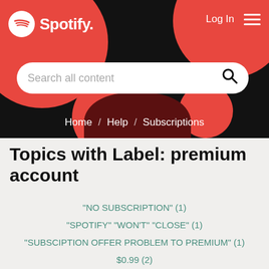[Figure (screenshot): Spotify website header with black background, red decorative circles, Spotify logo top left, Log In and hamburger menu top right, a white search bar reading 'Search all content', and breadcrumb navigation showing 'Home / Help / Subscriptions']
Topics with Label: premium account
"NO SUBSCRIPTION" (1)
"SPOTIFY" "WON'T" "CLOSE" (1)
"SUBSCIPTION OFFER PROBLEM TO PREMIUM" (1)
$0.99 (2)